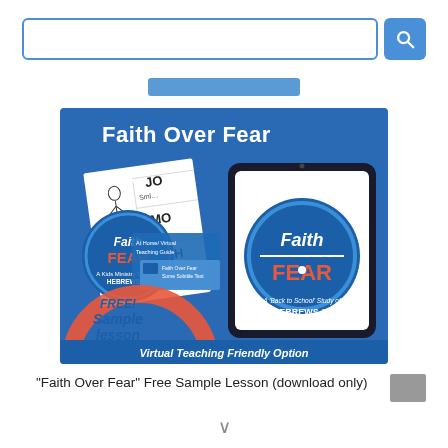[Figure (screenshot): Search bar with blue border and blue search button icon on the right]
[Figure (illustration): Product promotional image for 'Faith Over Fear' curriculum showing tablet device, printed materials, sticker, and text 'FREE! Sample Lesson', 'Virtual Teaching Friendly Option', 'Faith over FEAR', 'A Back to School Study of HEBREWS 11' on blue background]
"Faith Over Fear" Free Sample Lesson (download only)